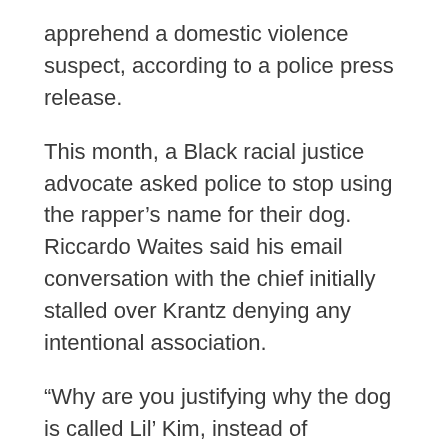apprehend a domestic violence suspect, according to a police press release.
This month, a Black racial justice advocate asked police to stop using the rapper's name for their dog. Riccardo Waites said his email conversation with the chief initially stalled over Krantz denying any intentional association.
“Why are you justifying why the dog is called Lil’ Kim, instead of accepting that it’s hurting people in the community?” said Waites, the founder of the Central Oregon Black Leaders Assembly.
One of COBLA’s goals as a nonprofit is to build trust between Black community members and law enforcement, Waites said. On March 15, he sent